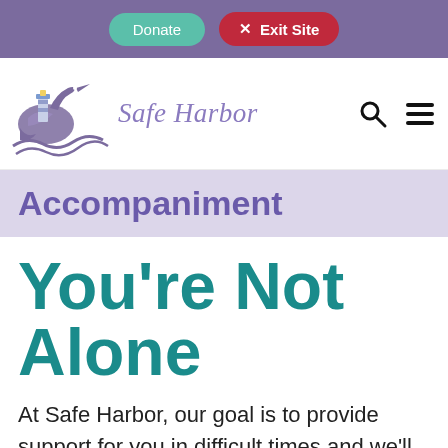Donate  ✕ Exit Site
[Figure (logo): Safe Harbor logo with purple heron and lighthouse illustration and cursive 'Safe Harbor' text]
Accompaniment
You're Not Alone
At Safe Harbor, our goal is to provide support for you in difficult times and we'll walk with